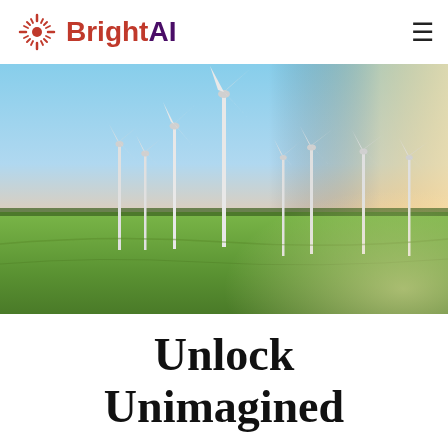BrightAI
[Figure (photo): Aerial photo of a wind farm with multiple large wind turbines across flat green agricultural fields under a warm sunset sky with soft pink and blue hues.]
Unlock Unimagined